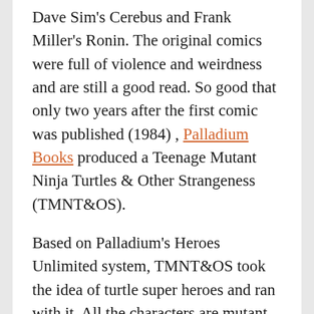Dave Sim's Cerebus and Frank Miller's Ronin. The original comics were full of violence and weirdness and are still a good read. So good that only two years after the first comic was published (1984) , Palladium Books produced a Teenage Mutant Ninja Turtles & Other Strangeness (TMNT&OS).
Based on Palladium's Heroes Unlimited system, TMNT&OS took the idea of turtle super heroes and ran with it. All the characters are mutant animals, everything from an aardvark to a wild turkey. This does away with all that pesky secret identity stuff human characters have to worry about. Instead the characters have to keep themselves hidden from sight or they will be